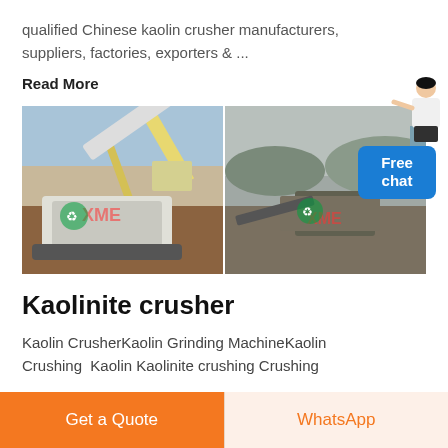qualified Chinese kaolin crusher manufacturers, suppliers, factories, exporters & ...
Read More
[Figure (photo): Two photos side by side of kaolin/mining crusher equipment in operation at quarry sites, with XME logo watermarks on each image. A 'Free chat' bubble with a customer service figure appears on the right side.]
Kaolinite crusher
Kaolin CrusherKaolin Grinding MachineKaolin Crushing  Kaolin Kaolinite crushing Crushing